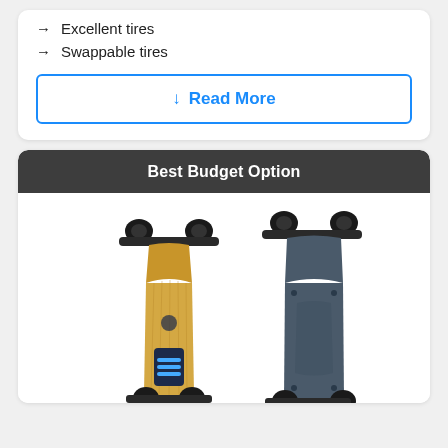→ Excellent tires
→ Swappable tires
↓ Read More
Best Budget Option
[Figure (photo): Two electric longboard skateboards shown from top view — one with bamboo/maple deck (front view) and one with dark blue/grey deck (top view from back)]